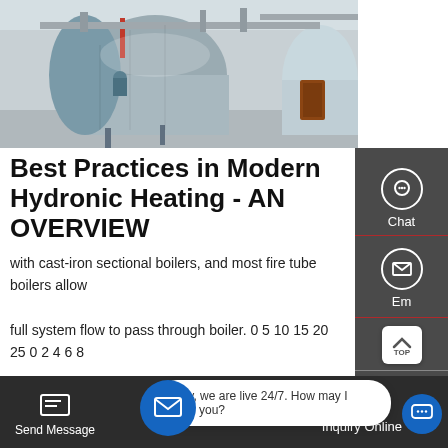[Figure (photo): Industrial boiler room with large cylindrical steel boilers, pipes, and equipment in a factory setting]
Best Practices in Modern Hydronic Heating - AN OVERVIEW
with cast-iron sectional boilers, and most fire tube boilers allow full system flow to pass through boiler. 0 5 10 15 20 25 0 2 4 6 8 10 12 pressure drop (psi) flow rate (gpm) 100,000 Btu/hr compact mod/con 100,000 Btu/hr ! cast-iron sectional VENT with low